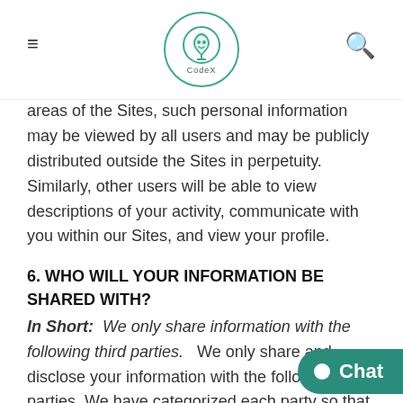CodeX
areas of the Sites, such personal information may be viewed by all users and may be publicly distributed outside the Sites in perpetuity. Similarly, other users will be able to view descriptions of your activity, communicate with you within our Sites, and view your profile.
6. WHO WILL YOUR INFORMATION BE SHARED WITH?
In Short:  We only share information with the following third parties.    We only share and disclose your information with the following third parties. We have categorized each party so that you may be easily understand the purpose of our data collection and processing practices. If processed your data based on your consent o